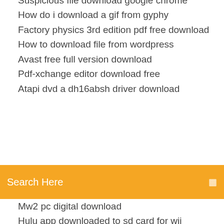Suspicious file download google chrome
How do i download a gif from gyphy
Factory physics 3rd edition pdf free download
How to download file from wordpress
Avast free full version download
Pdf-xchange editor download free
Atapi dvd a dh16absh driver download
[Figure (screenshot): Orange search bar with text 'Search Here' and a small icon on the right]
Mw2 pc digital download
Hulu app downloaded to sd card for wii
Fitbit inspire app download
Program to download crack apps on android
Final fantasy viii pc free download
Download torguard old version
Windows media player skins downloads
Router keygen apk free download
Galaxy s7 android 8 update stuck in downloading
Downloadable ps4 game guides